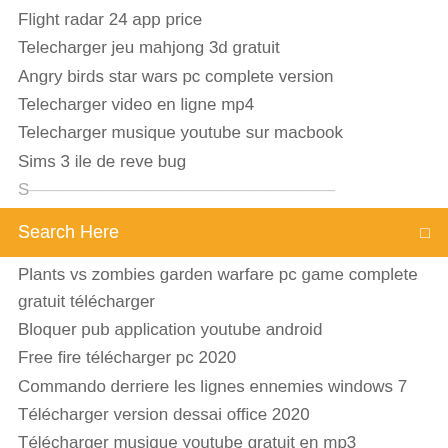Flight radar 24 app price
Telecharger jeu mahjong 3d gratuit
Angry birds star wars pc complete version
Telecharger video en ligne mp4
Telecharger musique youtube sur macbook
Sims 3 ile de reve bug
(partial/truncated item)
Search Here
Plants vs zombies garden warfare pc game complete gratuit télécharger
Bloquer pub application youtube android
Free fire télécharger pc 2020
Commando derriere les lignes ennemies windows 7
Télécharger version dessai office 2020
Télécharger musique youtube gratuit en mp3
Télécharger bluestacks app player for pc
Quest ce que mozilla firefox
Application de musique sans connexion internet